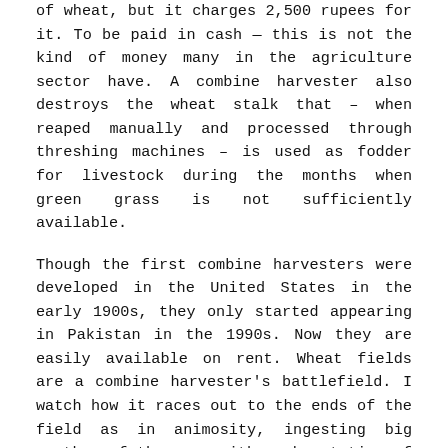of wheat, but it charges 2,500 rupees for it. To be paid in cash — this is not the kind of money many in the agriculture sector have. A combine harvester also destroys the wheat stalk that – when reaped manually and processed through threshing machines – is used as fodder for livestock during the months when green grass is not sufficiently available.
Though the first combine harvesters were developed in the United States in the early 1900s, they only started appearing in Pakistan in the 1990s. Now they are easily available on rent. Wheat fields are a combine harvester's battlefield. I watch how it races out to the ends of the field as in animosity, ingesting big swathes of the crop with each rotation of its reaper. The machine starts at the edges of the field and moves towards the centre in gradually narrowing circles. As soon as its 4,400 kilogramme storage capacity reaches its limit, the driver empties its contents onto a polythene sheet.
The harvesting process is not completely automated yet. Once the harvester empties itself and returns to cut other